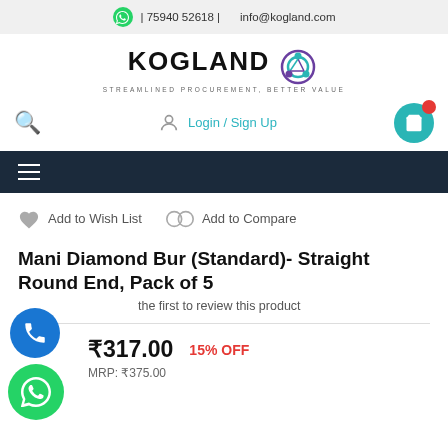| 75940 52618 |   info@kogland.com
[Figure (logo): Kogland logo with circular icon and tagline STREAMLINED PROCUREMENT, BETTER VALUE]
Login / Sign Up
hamburger menu navigation bar
Add to Wish List   Add to Compare
Mani Diamond Bur (Standard)- Straight Round End, Pack of 5
Be the first to review this product
₹317.00  15% OFF
MRP: ₹375.00